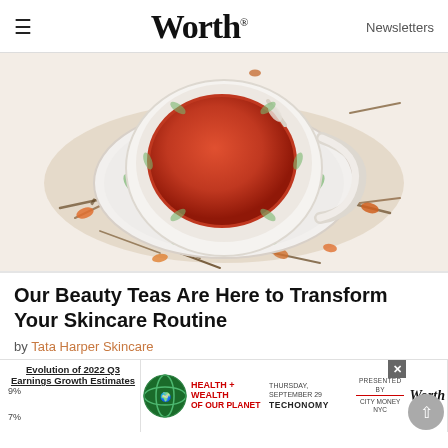≡  Worth  Newsletters
[Figure (photo): Overhead view of a decorative white teacup with green leaf motifs filled with reddish-brown tea, surrounded by loose dried herbs and orange flower petals on a white background.]
Our Beauty Teas Are Here to Transform Your Skincare Routine
by Tata Harper Skincare
[Figure (infographic): Advertisement banner showing: chart titled 'Evolution of 2022 Q3 Earnings Growth Estimates' with 9% and 7% labels; a Health + Wealth of Our Planet event ad with globe logo, 'TECHONOMY', 'PRESENTED BY', 'CITY MONEY NYC', and 'Worth' branding; an X close button; and a scroll-to-top button.]